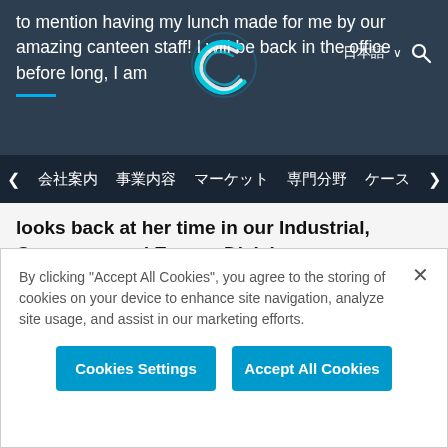to mention having my lunch made for me by our amazing canteen staff! I will be back in the office before long, I am
日本語  〈会社案内  事業内容  マーケット  専門分野  ケース〉
looks back at her time in our Industrial, Consumer and Energy Division.
Tarika says: Prior to joining Cambridge Consultants, I worked for seven years in the automotive industry, most recently for a luxury English automotive
By clicking "Accept All Cookies", you agree to the storing of cookies on your device to enhance site navigation, analyze site usage, and assist in our marketing efforts.